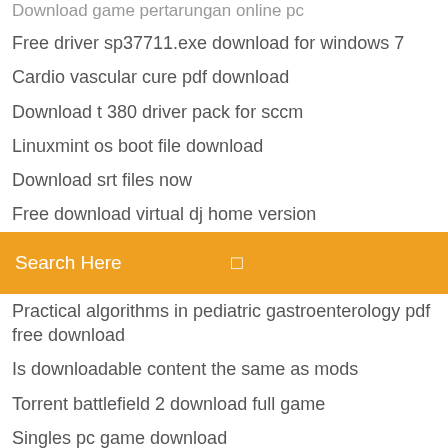Download game pertarungan online pc
Free driver sp37711.exe download for windows 7
Cardio vascular cure pdf download
Download t 380 driver pack for sccm
Linuxmint os boot file download
Download srt files now
Free download virtual dj home version
Search Here
Practical algorithms in pediatric gastroenterology pdf free download
Is downloadable content the same as mods
Torrent battlefield 2 download full game
Singles pc game download
Age of empire defintive edition download torrent
Make gif video capture download
Download android underground apk
Critical encounters in secondary english pdf download
Download nfs most wanted mod apk
Android app utilities 34 download